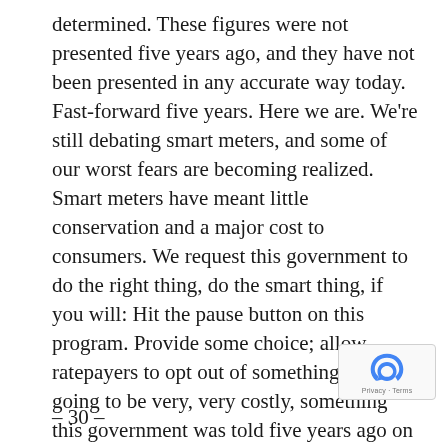determined. These figures were not presented five years ago, and they have not been presented in any accurate way today. Fast-forward five years. Here we are. We're still debating smart meters, and some of our worst fears are becoming realized. Smart meters have meant little conservation and a major cost to consumers. We request this government to do the right thing, do the smart thing, if you will: Hit the pause button on this program. Provide some choice; allow ratepayers to opt out of something that's going to be very, very costly, something this government was told five years ago on their own standing committee.
– 30 –